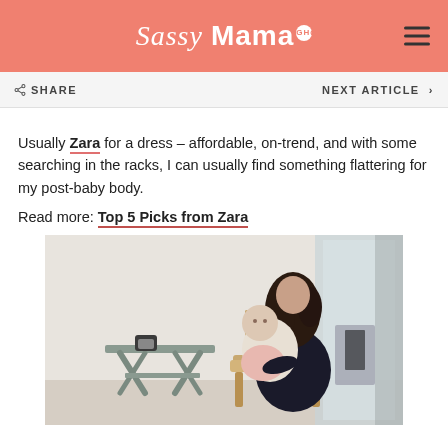Sassy Mama
SHARE
NEXT ARTICLE
Usually Zara for a dress – affordable, on-trend, and with some searching in the racks, I can usually find something flattering for my post-baby body.
Read more: Top 5 Picks from Zara
[Figure (photo): A mother with long dark hair sitting in a wooden chair holding a baby dressed in white/pink, with a side table and chairs visible in the background]